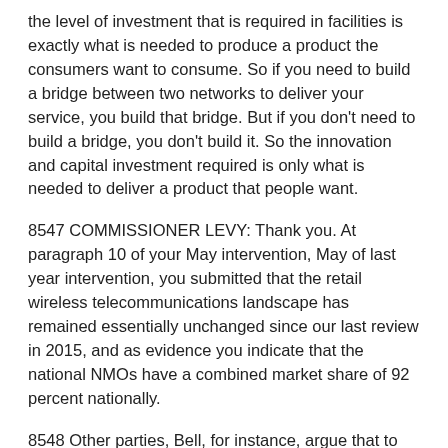the level of investment that is required in facilities is exactly what is needed to produce a product the consumers want to consume. So if you need to build a bridge between two networks to deliver your service, you build that bridge. But if you don't need to build a bridge, you don't build it. So the innovation and capital investment required is only what is needed to deliver a product that people want.
8547 COMMISSIONER LEVY: Thank you. At paragraph 10 of your May intervention, May of last year intervention, you submitted that the retail wireless telecommunications landscape has remained essentially unchanged since our last review in 2015, and as evidence you indicate that the national NMOs have a combined market share of 92 percent nationally.
8548 Other parties, Bell, for instance, argue that to get a sense of the competitive impact new entrant carriers are having on the market, one must look at their share of recent net additions, and on that basis, the regional wireless carriers perform really well, which proves they're